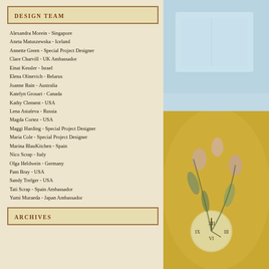DESIGN TEAM
Alexandra Morein - Singapore
Aneta Matuszewska - Iceland
Annette Green - Special Project Designer
Clare Charvill - UK Ambassador
Einat Kessler - Israel
Elena Olinevich - Belarus
Joanne Bain - Australia
Katelyn Grosart - Canada
Kathy Clement - USA
Lena Astafeva - Russia
Magda Cortez - USA
Maggi Harding - Special Project Designer
Maria Cole - Special Project Designer
Marina BlauKitchen - Spain
Nico Scrap - Italy
Olga Heldwein - Germany
Pam Bray - USA
Sandy Trefger - USA
Tati Scrap - Spain Ambassador
Yumi Muraeda - Japan Ambassador
ARCHIVES
[Figure (photo): Light blue background with partial view of a decorative card or envelope, craft/scrapbooking style]
[Figure (photo): Decorative art piece showing a clock face surrounded by floral elements including leaves and flower buds in muted golden and green tones]